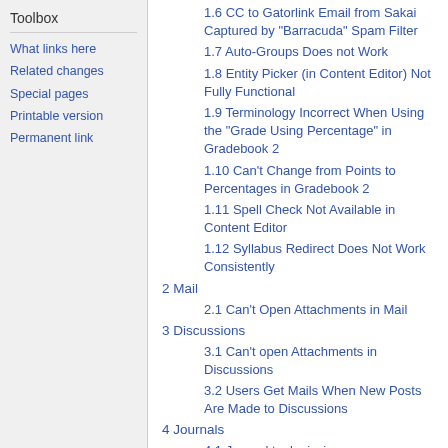Toolbox
What links here
Related changes
Special pages
Printable version
Permanent link
1.6 CC to Gatorlink Email from Sakai Captured by "Barracuda" Spam Filter
1.7 Auto-Groups Does not Work
1.8 Entity Picker (in Content Editor) Not Fully Functional
1.9 Terminology Incorrect When Using the "Grade Using Percentage" in Gradebook 2
1.10 Can't Change from Points to Percentages in Gradebook 2
1.11 Spell Check Not Available in Content Editor
1.12 Syllabus Redirect Does Not Work Consistently
2 Mail
2.1 Can't Open Attachments in Mail
3 Discussions
3.1 Can't open Attachments in Discussions
3.2 Users Get Mails When New Posts Are Made to Discussions
4 Journals
4.1 Journal tool missing